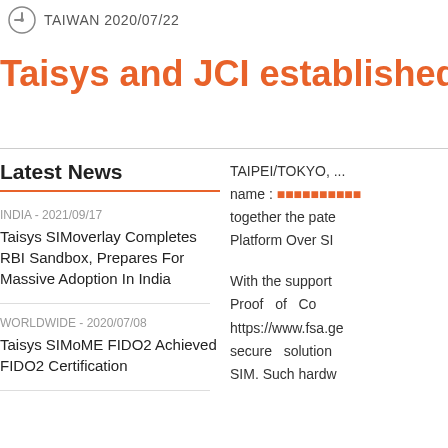TAIWAN 2020/07/22
Taisys and JCI established a joint-ve
Latest News
INDIA - 2021/09/17
Taisys SIMoverlay Completes RBI Sandbox, Prepares For Massive Adoption In India
WORLDWIDE - 2020/07/08
Taisys SIMoME FIDO2 Achieved FIDO2 Certification
TAIPEI/TOKYO, ... name : ■■■■■■■■■■ together the pate Platform Over SI
With the support Proof of Co https://www.fsa.ge secure solution SIM. Such hardw